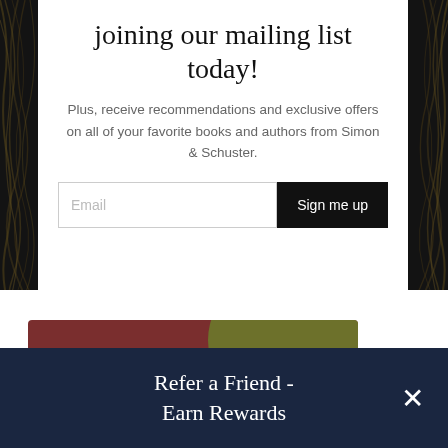joining our mailing list today!
Plus, receive recommendations and exclusive offers on all of your favorite books and authors from Simon & Schuster.
[Figure (screenshot): Email input field with placeholder text 'Email' and a black 'Sign me up' button]
[Figure (photo): Book cover with script lettering on a dark red and olive green background]
Refer a Friend - Earn Rewards